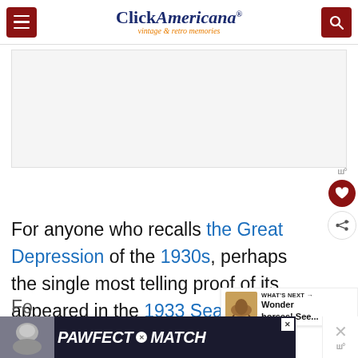Click Americana — vintage & retro memories
[Figure (screenshot): Webpage screenshot showing Click Americana website header with menu button, logo, and search button, followed by an article text area about the Great Depression and the 1933 Sears catalog, with sidebar action icons and a What's Next widget]
For anyone who recalls the Great Depression of the 1930s, perhaps the single most telling proof of its appeared in the 1933 Sears catalog.